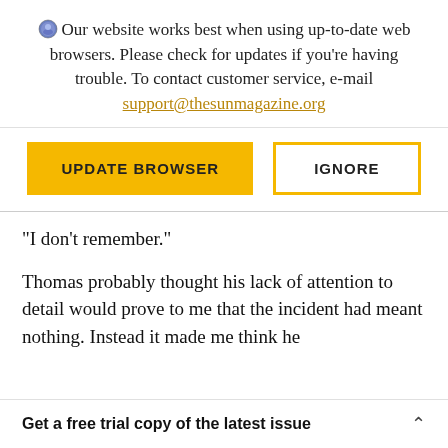Our website works best when using up-to-date web browsers. Please check for updates if you're having trouble. To contact customer service, e-mail support@thesunmagazine.org
[Figure (other): Two buttons: 'UPDATE BROWSER' (yellow fill) and 'IGNORE' (yellow outline)]
“I don’t remember.”
Thomas probably thought his lack of attention to detail would prove to me that the incident had meant nothing. Instead it made me think he
Get a free trial copy of the latest issue